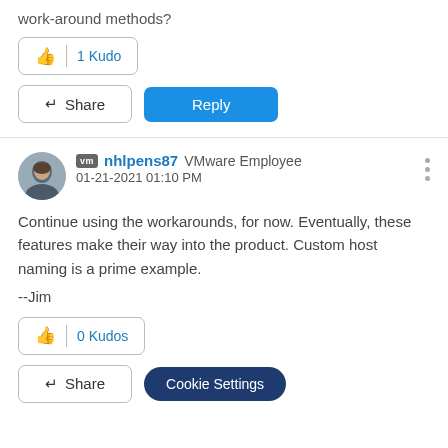work-around methods?
[Figure (other): 1 Kudo button with thumbs-up icon]
[Figure (other): Share button and Reply button]
[Figure (other): User avatar photo of nhlpens87]
nhlpens87 VMware Employee 01-21-2021 01:10 PM
Continue using the workarounds, for now.  Eventually, these features make their way into the product.  Custom host naming is a prime example.
--Jim
[Figure (other): 0 Kudos button with thumbs-up icon]
[Figure (other): Share button and Cookie Settings button]